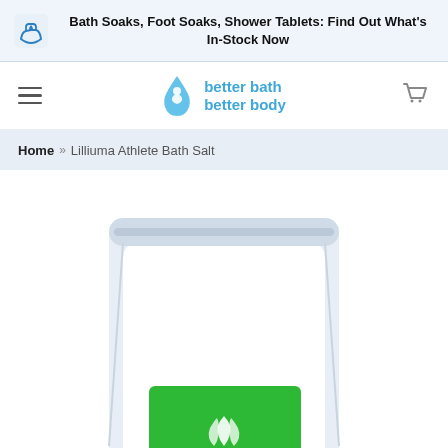Bath Soaks, Foot Soaks, Shower Tablets: Find Out What's In-Stock Now
[Figure (logo): Better Bath Better Body logo with blue water drop icon and blue text]
Home » Lilliuma Athlete Bath Salt
[Figure (photo): Product photo of Lilliuma Athlete Bath Salt in a white stand-up pouch with a green label and white flame/wave logo, partially cropped at bottom]